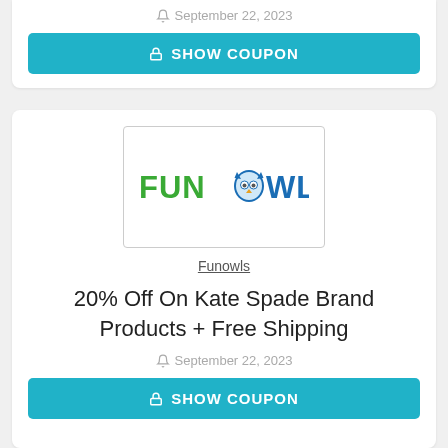September 22, 2023
🔒 SHOW COUPON
[Figure (logo): Funowls logo showing green and blue text FUNOWLS with an owl icon replacing the letter O]
Funowls
20% Off On Kate Spade Brand Products + Free Shipping
September 22, 2023
🔒 SHOW COUPON